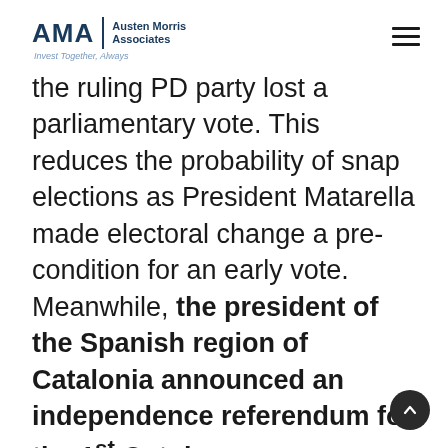AMA | Austen Morris Associates — Invest Together, Always
the ruling PD party lost a parliamentary vote. This reduces the probability of snap elections as President Matarella made electoral change a pre-condition for an early vote. Meanwhile, the president of the Spanish region of Catalonia announced an independence referendum for the 1st October. The conference is one of the